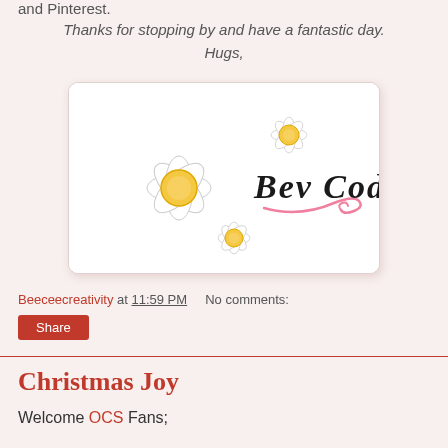and Pinterest.
Thanks for stopping by and have a fantastic day.
Hugs,
[Figure (illustration): Signature card with daisy flowers and cursive text reading 'Bev Code' with a pink swirl decoration on white background]
Beeceecreativity at 11:59 PM   No comments:
Share
Christmas Joy
Welcome OCS Fans;